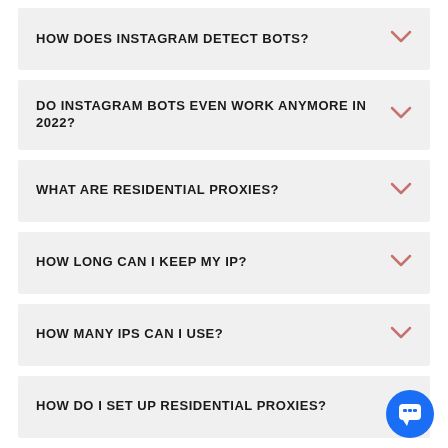HOW DOES INSTAGRAM DETECT BOTS?
DO INSTAGRAM BOTS EVEN WORK ANYMORE IN 2022?
WHAT ARE RESIDENTIAL PROXIES?
HOW LONG CAN I KEEP MY IP?
HOW MANY IPS CAN I USE?
HOW DO I SET UP RESIDENTIAL PROXIES?